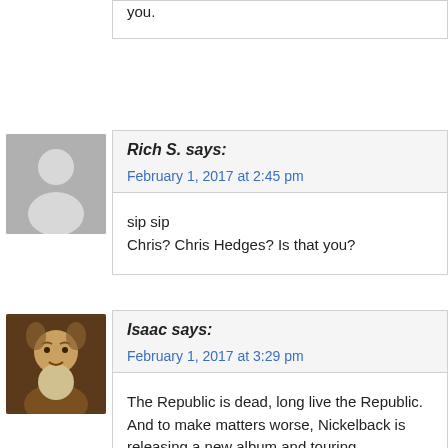you.
Rich S. says:
February 1, 2017 at 2:45 pm
sip sip
Chris? Chris Hedges? Is that you?
Isaac says:
February 1, 2017 at 3:29 pm
The Republic is dead, long live the Republic. And to make matters worse, Nickelback is releasing a new album and touring.